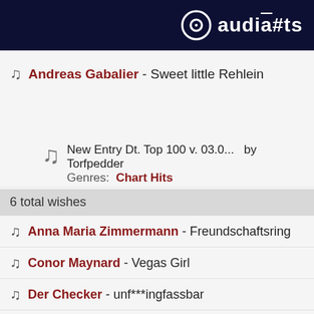audiarts
Andreas Gabalier - Sweet little Rehlein
New Entry Dt. Top 100 v. 03.0...  by Torfpedder
Genres:  Chart Hits
6 total wishes
Anna Maria Zimmermann - Freundschaftsring
Conor Maynard - Vegas Girl
Der Checker - unf***ingfassbar
Green Day - Oh Love
Groove Coverage - Riot in the Dancefloor